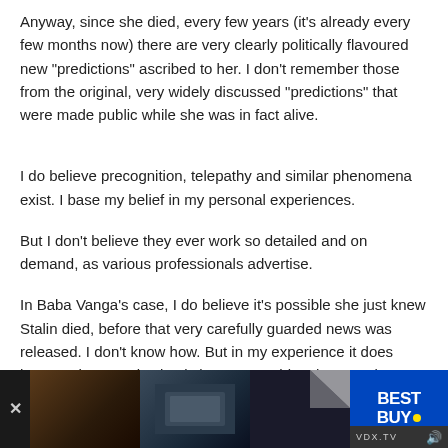Anyway, since she died, every few years (it's already every few months now) there are very clearly politically flavoured new "predictions" ascribed to her. I don't remember those from the original, very widely discussed "predictions" that were made public while she was in fact alive.
I do believe precognition, telepathy and similar phenomena exist. I base my belief in my personal experiences.
But I don't believe they ever work so detailed and on demand, as various professionals advertise.
In Baba Vanga's case, I do believe it's possible she just knew Stalin died, before that very carefully guarded news was released. I don't know how. But in my experience it does happen that people simply know something they need to know. What is not possible in my opinion is that the volume of her predictions is growing on its own, getting more and more politicized and suspiciously aggressively advertised.
[Figure (screenshot): Advertisement banner at bottom of page showing blurred thumbnail images on dark background and Best Buy logo with VDX.TV branding and sound icon]